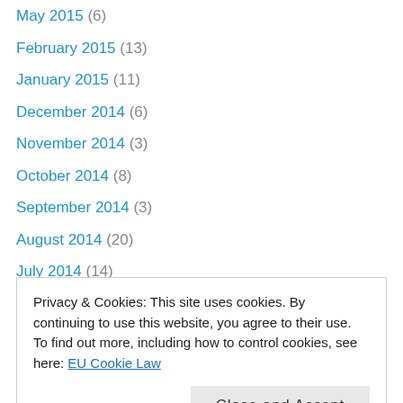May 2015 (6)
February 2015 (13)
January 2015 (11)
December 2014 (6)
November 2014 (3)
October 2014 (8)
September 2014 (3)
August 2014 (20)
July 2014 (14)
June 2014 (5)
May 2014 (8)
April 2014 (9)
March 2014 (2)
Privacy & Cookies: This site uses cookies. By continuing to use this website, you agree to their use. To find out more, including how to control cookies, see here: EU Cookie Law
August 2013 (23)